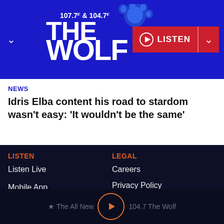107.7 & 104.7 The Wolf – Buffalo's New Country | LISTEN
NEWS
Idris Elba content his road to stardom wasn't easy: 'It wouldn't be the same'
LISTEN
Listen Live
Mobile App
CONNECT
FAQ
1Thing
Get My PERKS
LEGAL
Careers
Privacy Policy
Terms of Use
Copyright Notice
Music Submission Policy
Do Not Sell My Personal Information
The All New 104.7 The Wolf